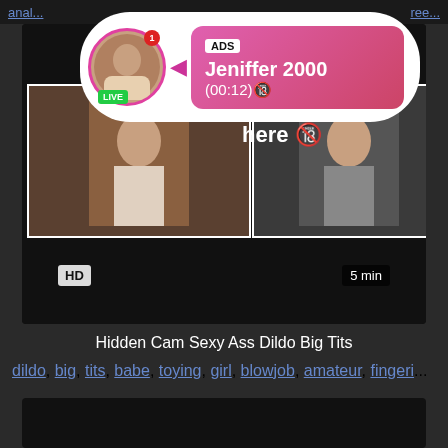anal... free...
[Figure (screenshot): Video thumbnail - dark background with two female selfie photos side by side, HD badge bottom left, 5 min duration badge bottom right. Overlay popup notification showing: ADS label, Jeniffer 2000 username, (00:12) timestamp, female avatar with pink circle border, LIVE badge, notification badge showing 1. Text overlay: find bad girls here]
Hidden Cam Sexy Ass Dildo Big Tits
dildo, big, tits, babe, toying, girl, blowjob, amateur, fingeri...
[Figure (screenshot): Bottom video thumbnail - dark/black background]